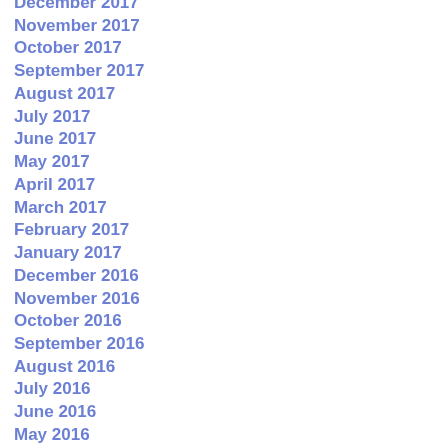December 2017
November 2017
October 2017
September 2017
August 2017
July 2017
June 2017
May 2017
April 2017
March 2017
February 2017
January 2017
December 2016
November 2016
October 2016
September 2016
August 2016
July 2016
June 2016
May 2016
April 2016
March 2016
February 2016
January 2016
December 2015
November 2015
October 2015
September 2015
August 2015
July 2015